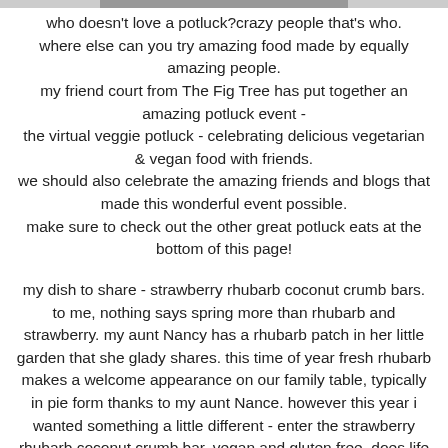who doesn't love a potluck?crazy people that's who. where else can you try amazing food made by equally amazing people. my friend court from The Fig Tree has put together an amazing potluck event - the virtual veggie potluck - celebrating delicious vegetarian & vegan food with friends. we should also celebrate the amazing friends and blogs that made this wonderful event possible. make sure to check out the other great potluck eats at the bottom of this page!
my dish to share - strawberry rhubarb coconut crumb bars. to me, nothing says spring more than rhubarb and strawberry. my aunt Nancy has a rhubarb patch in her little garden that she glady shares. this time of year fresh rhubarb makes a welcome appearance on our family table, typically in pie form thanks to my aunt Nance. however this year i wanted something a little different - enter the strawberry rhubarb coconut crumb bar, vegan and gluten free. does life get any better? only when you share these with your friends